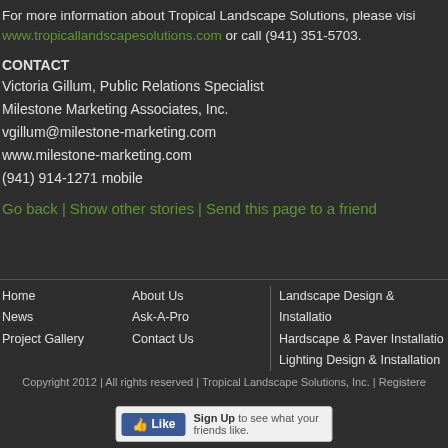For more information about Tropical Landscape Solutions, please visit www.tropicallandscapesolutions.com or call (941) 351-5703.
CONTACT
Victoria Gillum, Public Relations Specialist
Milestone Marketing Associates, Inc.
vgillum@milestone-marketing.com
www.milestone-marketing.com
(941) 914-1271 mobile
Go back | Show other stories | Send this page to a friend
Home | News | Project Gallery | About Us | Ask-A-Pro | Contact Us | Landscape Design & Installation | Hardscape & Paver Installation | Lighting Design & Installation
Copyright 2012 | All rights reserved | Tropical Landscape Solutions, Inc. | Registered
[Figure (other): Facebook Like widget with Sign Up button]